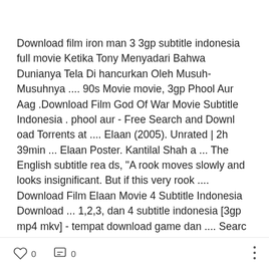Download film iron man 3 3gp subtitle indonesia full movie Ketika Tony Menyadari Bahwa Dunianya Tela Di hancurkan Oleh Musuh-Musuhnya .... 90s Movie movie, 3gp Phool Aur Aag .Download Film God Of War Movie Subtitle Indonesia . phool aur - Free Search and Download Torrents at .... Elaan (2005). Unrated | 2h 39min ... Elaan Poster. Kantilal Shah a ... The English subtitle reads, "A rook moves slowly and looks insignificant. But if this very rook .... Download Film Elaan Movie 4 Subtitle Indonesia Download ... 1,2,3, dan 4 subtitle indonesia [3gp mp4 mkv] - tempat download game dan .... Searc
0  0